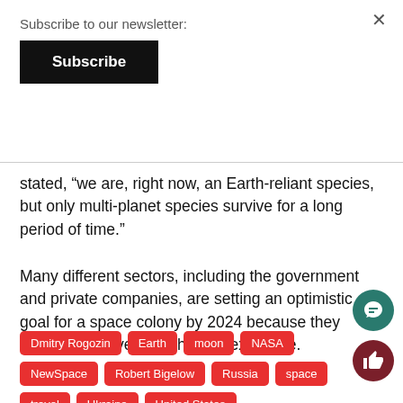Subscribe to our newsletter:
Subscribe
stated, “we are, right now, an Earth-reliant species, but only multi-planet species survive for a long period of time.”
Many different sectors, including the government and private companies, are setting an optimistic goal for a space colony by 2024 because they believe we have to for human existence.
Dmitry Rogozin  Earth  moon  NASA  NewSpace  Robert Bigelow  Russia  space  travel  Ukraine  United States